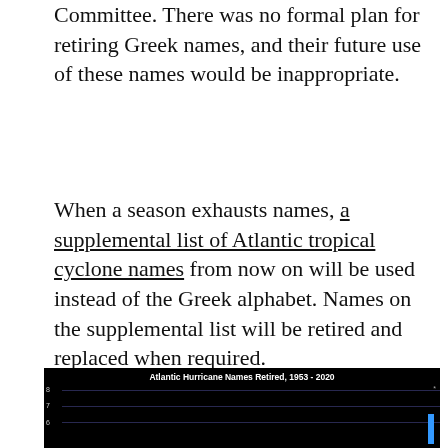Committee. There was no formal plan for retiring Greek names, and their future use of these names would be inappropriate.
When a season exhausts names, a supplemental list of Atlantic tropical cyclone names from now on will be used instead of the Greek alphabet. Names on the supplemental list will be retired and replaced when required.
[Figure (bar-chart): Partial bar chart visible, dark background, showing Atlantic Hurricane Names Retired from 1953 to 2020. Y-axis shows values 6, 7, 8. A blue bar is visible at the far right.]